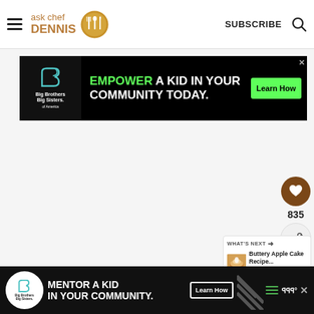ask chef DENNIS — SUBSCRIBE
[Figure (screenshot): Advertisement banner: Big Brothers Big Sisters logo on black background. Text reads 'EMPOWER A KID IN YOUR COMMUNITY TODAY.' with a green 'Learn How' button.]
[Figure (infographic): Floating sidebar panel with heart favorite button showing count 835 and a share button.]
[Figure (screenshot): What's Next panel showing thumbnail of apple cake and text: 'Buttery Apple Cake Recipe...']
[Figure (screenshot): Bottom advertisement banner: Big Brothers Big Sisters. Text: 'MENTOR A KID IN YOUR COMMUNITY.' with Learn How button, diagonal pattern, and menu/weather icons.]